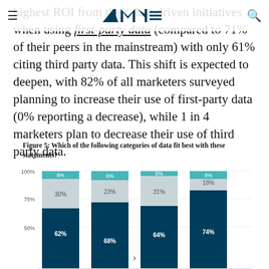NAI logo header with hamburger menu and search icon
highest ROI from their data-driven initiatives when using first-party data (compared to 71% of their peers in the mainstream) with only 61% citing third party data. This shift is expected to deepen, with 82% of all marketers surveyed planning to increase their use of first-party data (0% reporting a decrease), while 1 in 4 marketers plan to decrease their use of third party data.
Figure 5: Which of the following categories of data fit best with these statements?
[Figure (stacked-bar-chart): Figure 5: Which of the following categories of data fit best with these statements?]